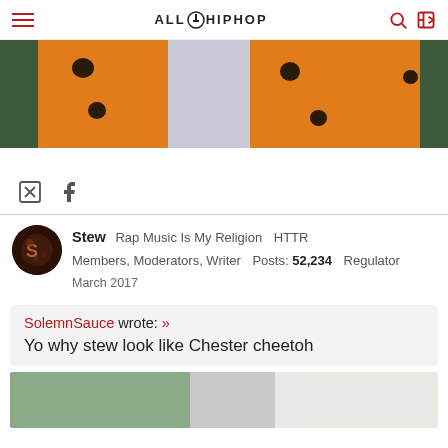AllHipHop
[Figure (photo): Close-up photo of orange and white fur, resembling Chester Cheetah mascot costume]
Twitter and Facebook social share icons
Stew  Rap Music Is My Religion  HTTR  Members, Moderators, Writer  Posts: 52,234  Regulator  March 2017
SolemnSauce wrote: »
Yo why stew look like Chester cheetoh
[Figure (photo): Partial image preview at bottom of quote block]